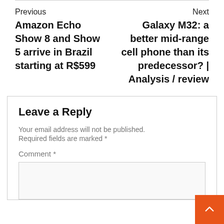Previous
Amazon Echo Show 8 and Show 5 arrive in Brazil starting at R$599
Next
Galaxy M32: a better mid-range cell phone than its predecessor? | Analysis / review
Leave a Reply
Your email address will not be published.
Required fields are marked *
Comment *